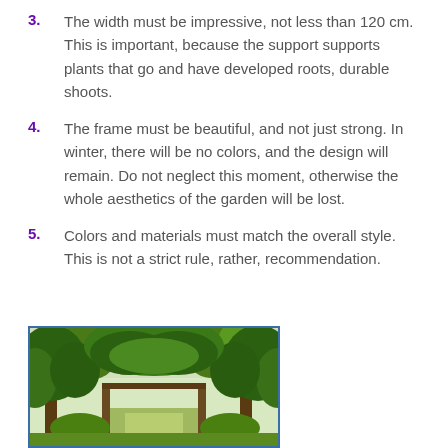3. The width must be impressive, not less than 120 cm. This is important, because the support supports plants that go and have developed roots, durable shoots.
4. The frame must be beautiful, and not just strong. In winter, there will be no colors, and the design will remain. Do not neglect this moment, otherwise the whole aesthetics of the garden will be lost.
5. Colors and materials must match the overall style. This is not a strict rule, rather, recommendation.
[Figure (photo): A garden archway/pergola with dense green foliage and vines covering a wooden arch structure, with a path leading through it. Trees visible on either side and in background.]